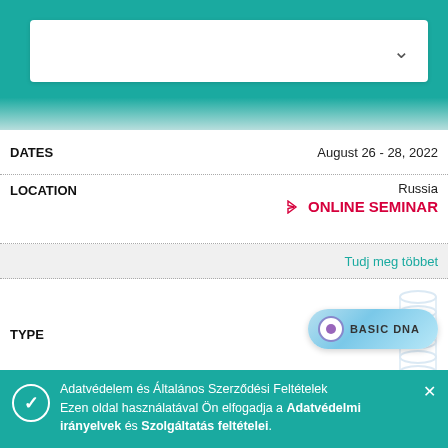[Figure (screenshot): Top teal navigation bar with white dropdown selector box and chevron arrow]
DATES   August 26 - 28, 2022
LOCATION   Russia
→ONLINE SEMINAR
Tudj meg többet
[Figure (logo): BASIC DNA badge with purple circle icon and DNA helix decoration on blue gradient button]
TYPE   BASIC DNA
INSTRUCTOR   Ute Bursian
DATES   August 26 - 28, 2022
LOCATION   Heppenheim
Germany
Adatvédelem és Általános Szerződési Feltételek Ezen oldal használatával Ön elfogadja a Adatvédelmi irányelvek és Szolgáltatás feltételei.